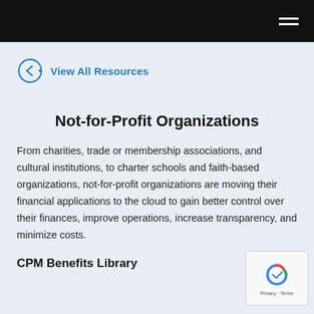Navigation bar with hamburger menu
← View All Resources
Not-for-Profit Organizations
From charities, trade or membership associations, and cultural institutions, to charter schools and faith-based organizations, not-for-profit organizations are moving their financial applications to the cloud to gain better control over their finances, improve operations, increase transparency, and minimize costs.
CPM Benefits Library